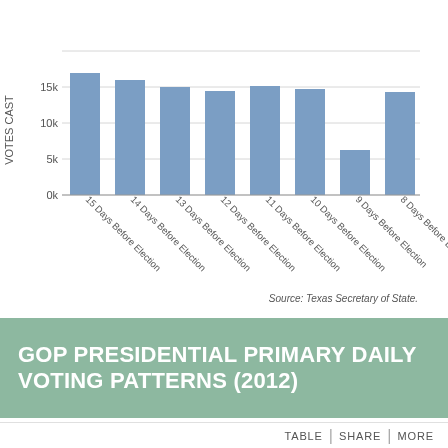[Figure (bar-chart): ]
GOP PRESIDENTIAL PRIMARY DAILY VOTING PATTERNS (2012)
TABLE | SHARE | MORE